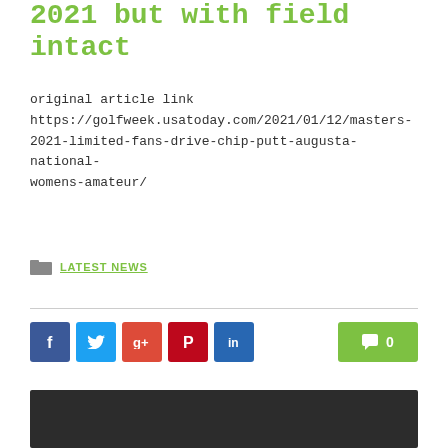2021 but with field intact
original article link https://golfweek.usatoday.com/2021/01/12/masters-2021-limited-fans-drive-chip-putt-augusta-national-womens-amateur/
LATEST NEWS
[Figure (other): Social share buttons: Facebook, Twitter, Google+, Pinterest, LinkedIn, and a comment button showing 0 comments]
[Figure (photo): Dark/black image area at bottom of page]